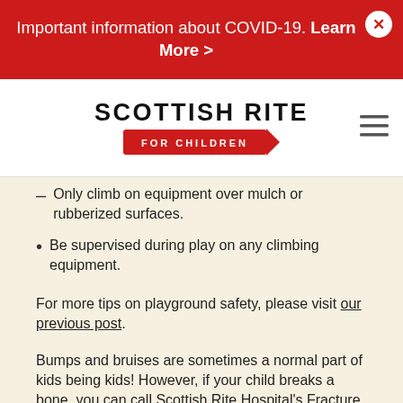Important information about COVID-19. Learn More >
[Figure (logo): Scottish Rite for Children logo — text 'SCOTTISH RITE' above a red crayon graphic reading 'FOR CHILDREN']
Only climb on equipment over mulch or rubberized surfaces.
Be supervised during play on any climbing equipment.
For more tips on playground safety, please visit our previous post.
Bumps and bruises are sometimes a normal part of kids being kids! However, if your child breaks a bone, you can call Scottish Rite Hospital's Fracture Clinic directly at 469-515-7200. To learn more about our Fracture